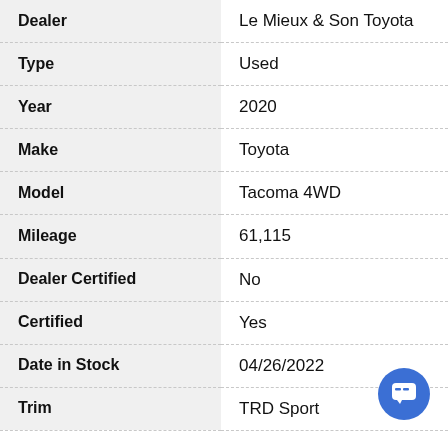| Field | Value |
| --- | --- |
| Dealer | Le Mieux & Son Toyota |
| Type | Used |
| Year | 2020 |
| Make | Toyota |
| Model | Tacoma 4WD |
| Mileage | 61,115 |
| Dealer Certified | No |
| Certified | Yes |
| Date in Stock | 04/26/2022 |
| Trim | TRD Sport |